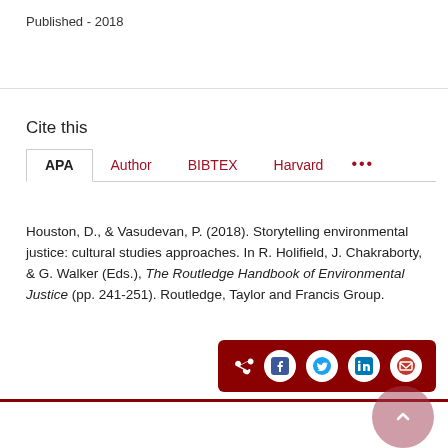Published - 2018
Cite this
APA  Author  BIBTEX  Harvard  ...
Houston, D., & Vasudevan, P. (2018). Storytelling environmental justice: cultural studies approaches. In R. Holifield, J. Chakraborty, & G. Walker (Eds.), The Routledge Handbook of Environmental Justice (pp. 241-251). Routledge, Taylor and Francis Group.